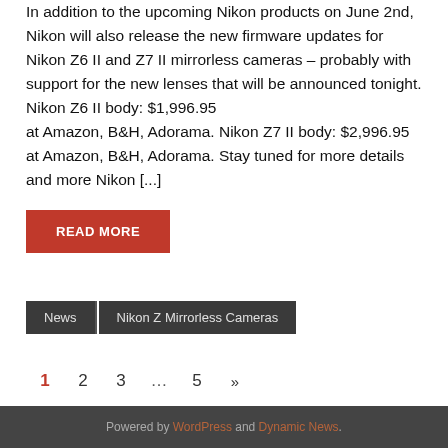In addition to the upcoming Nikon products on June 2nd, Nikon will also release the new firmware updates for Nikon Z6 II and Z7 II mirrorless cameras – probably with support for the new lenses that will be announced tonight. Nikon Z6 II body: $1,996.95 at Amazon, B&H, Adorama. Nikon Z7 II body: $2,996.95 at Amazon, B&H, Adorama. Stay tuned for more details and more Nikon [...]
READ MORE
News	Nikon Z Mirrorless Cameras
1  2  3  ...  5  »
Powered by WordPress and Dynamic News.